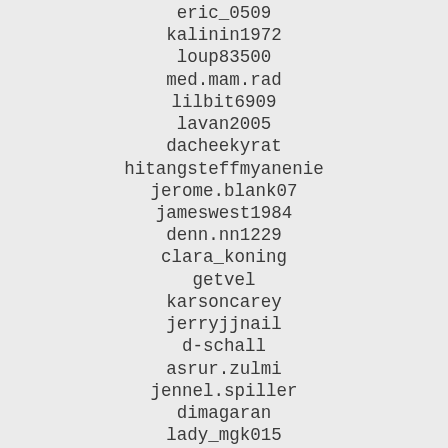eric_0509
kalinin1972
loup83500
med.mam.rad
lilbit6909
lavan2005
dacheekyrat
hitangsteffmyanenie
jerome.blank07
jameswest1984
denn.nn1229
clara_koning
getvel
karsoncarey
jerryjjnail
d-schall
asrur.zulmi
jennel.spiller
dimagaran
lady_mgk015
luc_the_ninja
gomzyakoffsv
farooqlikefairy
kaylabowwow
jokenrubi90